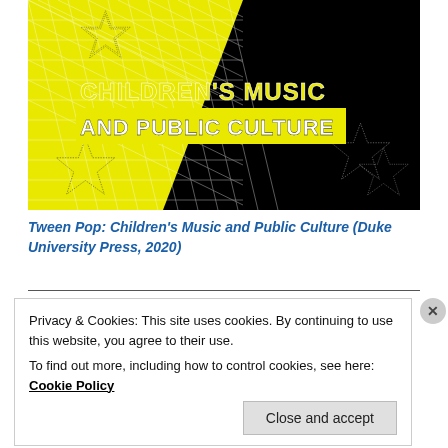[Figure (illustration): Book cover for 'Children's Music and Public Culture' with yellow and black diagonal split design, triangle grid pattern on yellow section, stars outlined in dotted style, bold yellow and white title text on black background.]
Tween Pop: Children's Music and Public Culture (Duke University Press, 2020)
Privacy & Cookies: This site uses cookies. By continuing to use this website, you agree to their use.
To find out more, including how to control cookies, see here: Cookie Policy